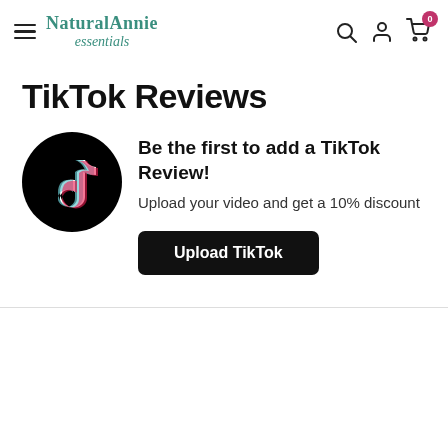NaturalAnnie essentials — navigation header with search, account, and cart icons
TikTok Reviews
[Figure (logo): TikTok logo: white music note on black circle background]
Be the first to add a TikTok Review! Upload your video and get a 10% discount
Upload TikTok